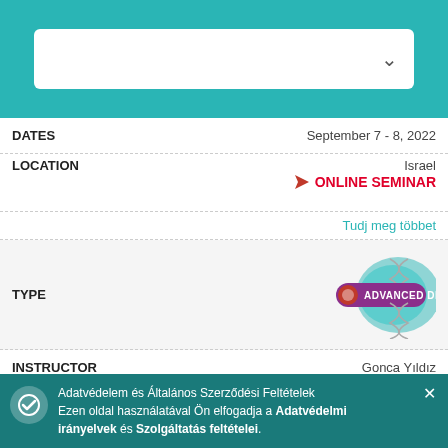[Figure (screenshot): Dropdown selector box with white background and teal header bar]
| FIELD | VALUE |
| --- | --- |
| DATES | September 7 - 8, 2022 |
| LOCATION | Israel / ONLINE SEMINAR |
|  | Tudj meg többet |
| TYPE | ADVANCED DNA |
| INSTRUCTOR | Gonca Yıldız |
| DATES | September 8 - 10, 2022 |
| LOCATION | Turkey / ONLINE SEMINAR |
| TYPE |  |
Adatvédelem és Általános Szerződési Feltételek Ezen oldal használatával Ön elfogadja a Adatvédelmi irányelvek és Szolgáltatás feltételei.